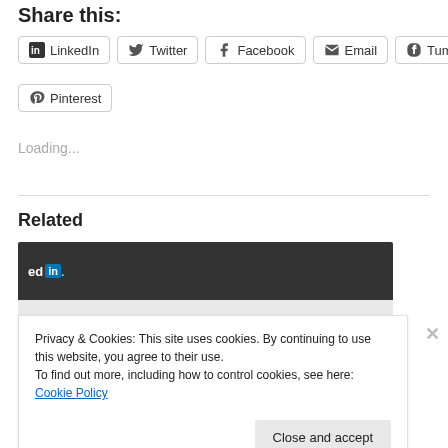Share this:
LinkedIn
Twitter
Facebook
Email
Tumblr
Pinterest
Loading...
Related
[Figure (screenshot): LinkedIn dark header bar preview thumbnail]
Privacy & Cookies: This site uses cookies. By continuing to use this website, you agree to their use.
To find out more, including how to control cookies, see here: Cookie Policy